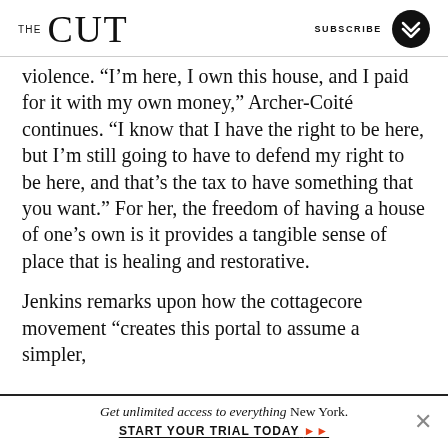THE CUT | SUBSCRIBE
violence. “I’m here, I own this house, and I paid for it with my own money,” Archer-Coité continues. “I know that I have the right to be here, but I’m still going to have to defend my right to be here, and that’s the tax to have something that you want.” For her, the freedom of having a house of one’s own is it provides a tangible sense of place that is healing and restorative.

Jenkins remarks upon how the cottagecore movement “creates this portal to assume a simpler,
Get unlimited access to everything New York. START YOUR TRIAL TODAY »»